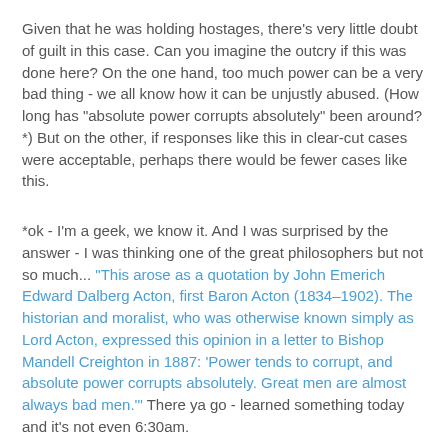Given that he was holding hostages, there's very little doubt of guilt in this case. Can you imagine the outcry if this was done here? On the one hand, too much power can be a very bad thing - we all know how it can be unjustly abused. (How long has "absolute power corrupts absolutely" been around? *) But on the other, if responses like this in clear-cut cases were acceptable, perhaps there would be fewer cases like this.
*ok - I'm a geek, we know it. And I was surprised by the answer - I was thinking one of the great philosophers but not so much... "This arose as a quotation by John Emerich Edward Dalberg Acton, first Baron Acton (1834–1902). The historian and moralist, who was otherwise known simply as Lord Acton, expressed this opinion in a letter to Bishop Mandell Creighton in 1887: 'Power tends to corrupt, and absolute power corrupts absolutely. Great men are almost always bad men.'" There ya go - learned something today and it's not even 6:30am.